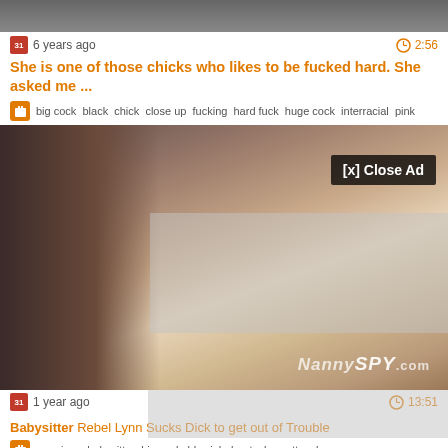[Figure (screenshot): Video thumbnail strip at top]
6 years ago    2:56
She is one of those chicks who likes to be fucked hard. She asked me ...
big cock  black  chick  close up  fucking  hard fuck  huge cock  interracial  pink
[Figure (screenshot): Video thumbnail with NannySpy.com watermark and [x] Close Ad overlay]
1 year ago    13:51
Babysitter Rebel Lynn Sucks Dick to get out of Trouble
american  babysitter  big cock  blowjob  boots  brunette  close
[Figure (screenshot): Partial video thumbnail at bottom]